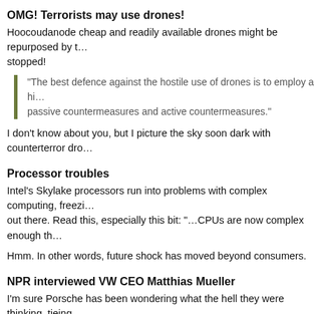OMG! Terrorists may use drones!
Hoocoudanode cheap and readily available drones might be repurposed by t… stopped!
“The best defence against the hostile use of drones is to employ a hi… passive countermeasures and active countermeasures.”
I don’t know about you, but I picture the sky soon dark with counterterror dro…
Processor troubles
Intel’s Skylake processors run into problems with complex computing, freezi… out there. Read this, especially this bit: “…CPUs are now complex enough th…
Hmm. In other words, future shock has moved beyond consumers.
NPR interviewed VW CEO Matthias Mueller
I’m sure Porsche has been wondering what the hell they were thinking, tieing… and he’s struggling. Witness NPR handing Mueller a shovel, and watching as…
NPR: You said this was a technical problem, but the American people… inside the company. How do you change that perception in the U.S.?
Matthias Mueller: Frankly spoken, it was a technical problem. We ma…